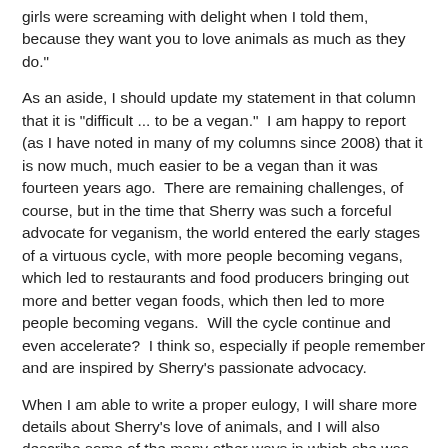girls were screaming with delight when I told them, because they want you to love animals as much as they do."
As an aside, I should update my statement in that column that it is "difficult ... to be a vegan."  I am happy to report (as I have noted in many of my columns since 2008) that it is now much, much easier to be a vegan than it was fourteen years ago.  There are remaining challenges, of course, but in the time that Sherry was such a forceful advocate for veganism, the world entered the early stages of a virtuous cycle, with more people becoming vegans, which led to restaurants and food producers bringing out more and better vegan foods, which then led to more people becoming vegans.  Will the cycle continue and even accelerate?  I think so, especially if people remember and are inspired by Sherry's passionate advocacy.
When I am able to write a proper eulogy, I will share more details about Sherry's love of animals, and I will also describe some of the many other ways in which she was extraordinary as a person and as a friend.  For now, I am happy to republish the column that made Sherry so happy,